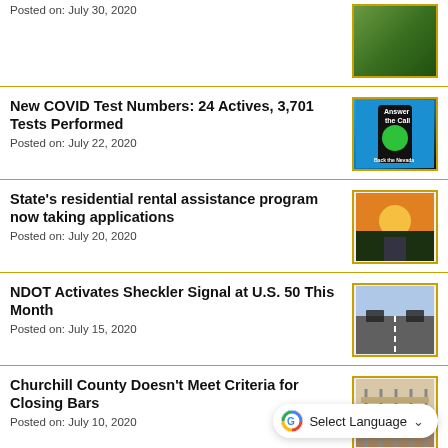Posted on: July 30, 2020
New COVID Test Numbers: 24 Actives, 3,701 Tests Performed
Posted on: July 22, 2020
State's residential rental assistance program now taking applications
Posted on: July 20, 2020
NDOT Activates Sheckler Signal at U.S. 50 This Month
Posted on: July 15, 2020
Churchill County Doesn't Meet Criteria for Closing Bars
Posted on: July 10, 2020
Update on Scams Targeting the